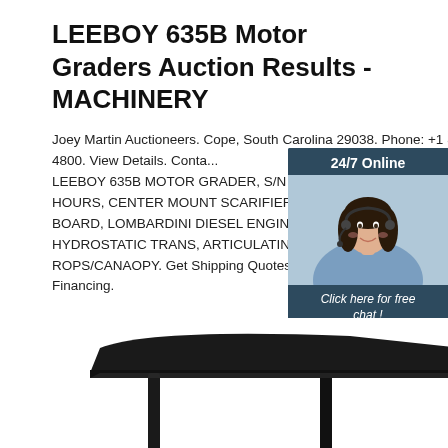LEEBOY 635B Motor Graders Auction Results - MACHINERY
Joey Martin Auctioneers. Cope, South Carolina 29038. Phone: +1 864-940-4800. View Details. Conta... LEEBOY 635B MOTOR GRADER, S/N 114, 3... HOURS, CENTER MOUNT SCARIFIER, 8FT BOARD, LOMBARDINI DIESEL ENGINE, HYDROSTATIC TRANS, ARTICULATING, ROPS/CANAOPY. Get Shipping Quotes Apply Financing.
[Figure (photo): Chat widget with woman wearing headset, 24/7 Online label, Click here for free chat!, and QUOTATION button]
[Figure (photo): Partial view of a motor grader ROPS canopy structure at the bottom of the page]